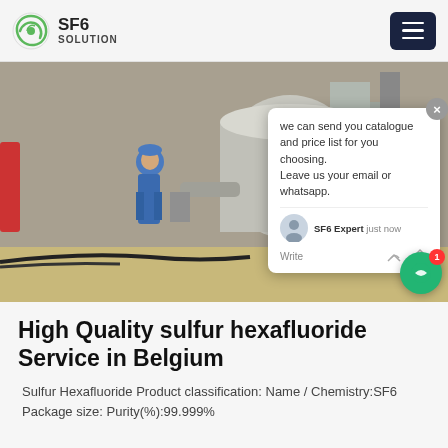SF6 SOLUTION
[Figure (photo): Workers in blue hard hats and coveralls working on large industrial SF6 gas equipment / tanks at an outdoor industrial facility. A chat popup overlay is visible on the right side of the image with text: 'we can send you catalogue and price list for you choosing. Leave us your email or whatsapp.' with agent name 'SF6 Expert' and timestamp 'just now'.]
High Quality sulfur hexafluoride Service in Belgium
Sulfur Hexafluoride Product classification: Name / Chemistry:SF6 Package size: Purity(%):99.999%